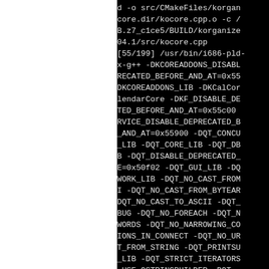d -o src/CMakeFiles/korganizer-core.dir/kocore.cpp.o -c /home/nate/rpmbuild/BUILD/korganizer-4.9.04.1/src/kocore.cpp
[55/199] /usr/bin/i686-pld-linux-g++ -DKCOREADDONS_DISABLE_DEPRECATED_BEFORE_AND_AT=0x55c00 -DKCOREADDONS_LIB -DKCalCore::lendarCore -DKF_DISABLE_DEPRECATED_BEFORE_AND_AT=0x55c00 -DKSERVICE_DISABLE_DEPRECATED_BEFORE_AND_AT=0x55900 -DQT_CONCURRENT_LIB -DQT_CORE_LIB -DQT_DBUS_LIB -DQT_DISABLE_DEPRECATED_BEFORE=0x50f02 -DQT_GUI_LIB -DQT_NETWORK_LIB -DQT_NO_CAST_FROM_ASCII -DQT_NO_CAST_FROM_BYTEARRAY -DQT_NO_CAST_TO_ASCII -DQT_NO_DEBUG -DQT_NO_FOREACH -DQT_NO_KEYWORDS -DQT_NO_NARROWING_CONVERSIONS_IN_CONNECT -DQT_NO_URL_CAST_FROM_STRING -DQT_PRINTSUPPORT_LIB -DQT_STRICT_ITERATORS -DQT_USE_QSTRINGBUILDER -DQT_